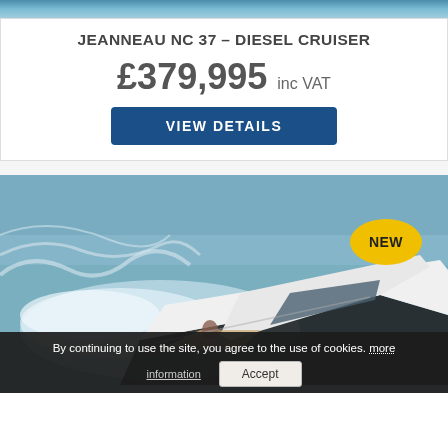[Figure (photo): Top portion of a boat/water scene, cropped blue water image strip]
JEANNEAU NC 37 – DIESEL CRUISER
£379,995 inc VAT
VIEW DETAILS
[Figure (photo): Aerial photo of a white Jeanneau NC 37 motor cruiser speeding through blue choppy water. A person is visible on the stern deck. A yellow oval 'NEW' badge is overlaid on the top-right of the image.]
By continuing to use the site, you agree to the use of cookies. more information   Accept